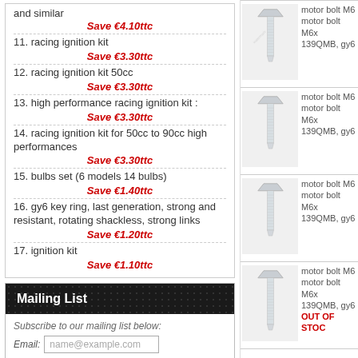and similar
Save €4.10ttc
11. racing ignition kit
Save €3.30ttc
12. racing ignition kit 50cc
Save €3.30ttc
13. high performance racing ignition kit :
Save €3.30ttc
14. racing ignition kit for 50cc to 90cc high performances
Save €3.30ttc
15. bulbs set (6 models 14 bulbs)
Save €1.40ttc
16. gy6 key ring, last generation, strong and resistant, rotating shackless, strong links
Save €1.20ttc
17. ignition kit
Save €1.10ttc
Mailing List
Subscribe to our mailing list below:
Email: name@example.com
Join Now
[Figure (photo): Motor bolt M6x product photo #1 - bolt with hexagonal head]
motor bolt M6
motor bolt M6x
139QMB, gy6
[Figure (photo): Motor bolt M6x product photo #2 - bolt with hexagonal head]
motor bolt M6
motor bolt M6x
139QMB, gy6
[Figure (photo): Motor bolt M6x product photo #3 - bolt with hexagonal head]
motor bolt M6
motor bolt M6x
139QMB, gy6
[Figure (photo): Motor bolt M6x product photo #4 - bolt with hexagonal head]
motor bolt M6
motor bolt M6x
139QMB, gy6
OUT OF STOCK